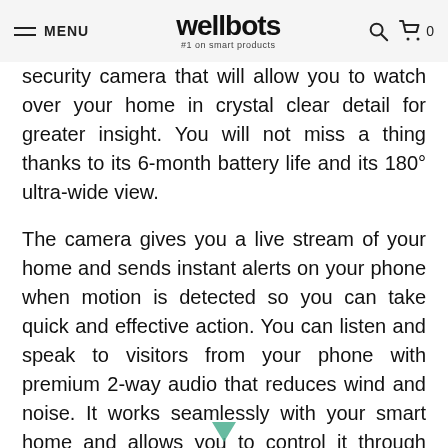MENU | wellbots #1 on smart products | 🔍 🛒 0
security camera that will allow you to watch over your home in crystal clear detail for greater insight. You will not miss a thing thanks to its 6-month battery life and its 180° ultra-wide view.
The camera gives you a live stream of your home and sends instant alerts on your phone when motion is detected so you can take quick and effective action. You can listen and speak to visitors from your phone with premium 2-way audio that reduces wind and noise. It works seamlessly with your smart home and allows you to control it through voice commands.